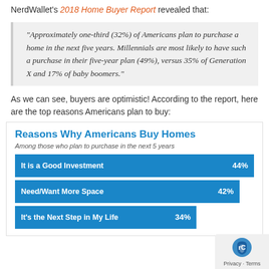NerdWallet's 2018 Home Buyer Report revealed that:
“Approximately one-third (32%) of Americans plan to purchase a home in the next five years. Millennials are most likely to have such a purchase in their five-year plan (49%), versus 35% of Generation X and 17% of baby boomers.”
As we can see, buyers are optimistic! According to the report, here are the top reasons Americans plan to buy:
[Figure (bar-chart): Reasons Why Americans Buy Homes]